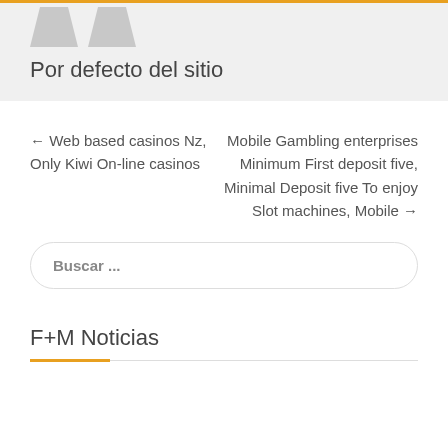[Figure (illustration): Two gray silhouette avatar figures at top]
Por defecto del sitio
← Web based casinos Nz, Only Kiwi On-line casinos
Mobile Gambling enterprises Minimum First deposit five, Minimal Deposit five To enjoy Slot machines, Mobile →
Buscar ...
F+M Noticias